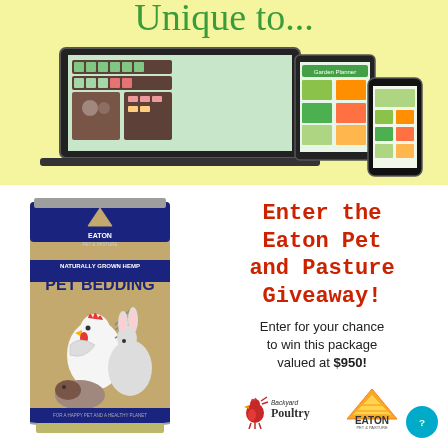[Figure (screenshot): Top section with yellow background showing a garden planning app on laptop, tablet, and smartphone screens, with partial cursive text 'Unique to...' at top]
[Figure (photo): Eaton Pet Bedding product bag showing naturally grown hemp pet bedding with illustrations of a rooster, rabbit, and guinea pig]
Enter the Eaton Pet and Pasture Giveaway!
Enter for your chance to win this package valued at $950!
[Figure (logo): Backyard Poultry logo with rooster icon]
[Figure (logo): Eaton Pet & Pasture logo with pyramid/triangle icon]